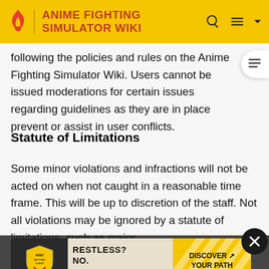ANIME FIGHTING SIMULATOR WIKI
following the policies and rules on the Anime Fighting Simulator Wiki. Users cannot be issued moderations for certain issues regarding guidelines as they are in place prevent or assist in user conflicts.
Statute of Limitations
Some minor violations and infractions will not be acted on when not caught in a reasonable time frame. This will be up to discretion of the staff. Not all violations may be ignored by a statute of limitations, such as major offenses actions they di a new policy being introduced due to unaccounted offenses, users who have violated the rule before its introduction
[Figure (screenshot): Army National Guard advertisement banner: RESTLESS? NO. RELENTLESS. DISCOVER YOUR PATH]
[Figure (other): Close (X) button circle overlay on advertisement]